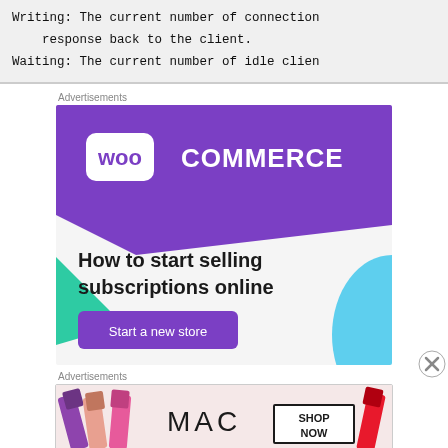Writing: The current number of connection response back to the client.
Waiting: The current number of idle clien
Advertisements
[Figure (illustration): WooCommerce advertisement: purple and teal geometric background with WooCommerce logo, text 'How to start selling subscriptions online', and a purple 'Start a new store' button.]
Advertisements
[Figure (illustration): MAC cosmetics advertisement showing lipsticks and the MAC logo with 'SHOP NOW' text in a bordered box.]